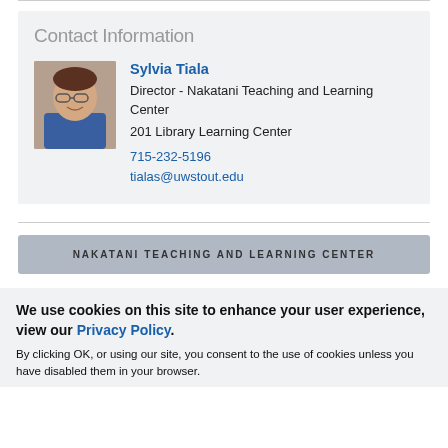Contact Information
[Figure (photo): Headshot photo of Sylvia Tiala, a woman with glasses and short dark hair, smiling.]
Sylvia Tiala
Director - Nakatani Teaching and Learning Center
201 Library Learning Center
715-232-5196
tialas@uwstout.edu
NAKATANI TEACHING AND LEARNING CENTER
We use cookies on this site to enhance your user experience, view our Privacy Policy.
By clicking OK, or using our site, you consent to the use of cookies unless you have disabled them in your browser.